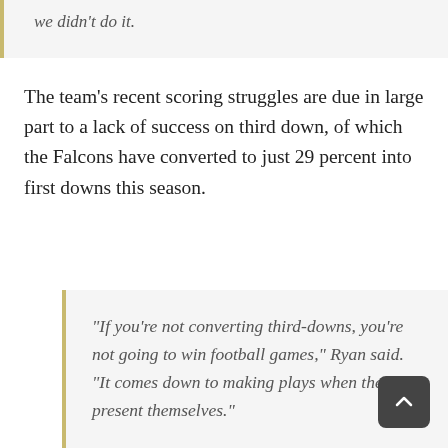we didn't do it.
The team's recent scoring struggles are due in large part to a lack of success on third down, of which the Falcons have converted to just 29 percent into first downs this season.
"If you're not converting third-downs, you're not going to win football games," Ryan said. "It comes down to making plays when they present themselves."